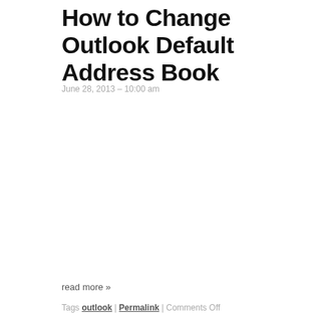How to Change Outlook Default Address Book
June 28, 2013 – 10:00 am
read more »
Tags outlook | Permalink | Comments Off